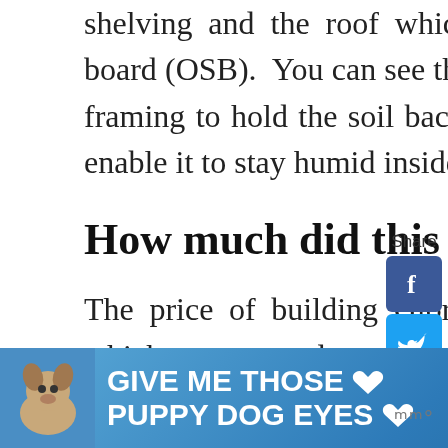shelving and the roof which is two layers of oriented strand board (OSB). You can see the metal roofing on the outside of the framing to hold the soil back. The floor is just virgin gravel, to enable it to stay humid inside, and also to drain.
How much did this root cellar cos
The price of building Glory Be was the cost the excavation, which ammounted to about $200 because we made a deal with the operator - fuel costs a lot, so we covered the plus a bit of an hourly rate for the machine. You will need to do some research to find a qualified operator in your area, but expect to
[Figure (other): Share sidebar with Facebook, Twitter, Pinterest, Tumblr, heart/love, and share buttons. Share count shows 12.]
[Figure (other): Advertisement banner: Give Me Those Puppy Dog Eyes with dog photo and close button.]